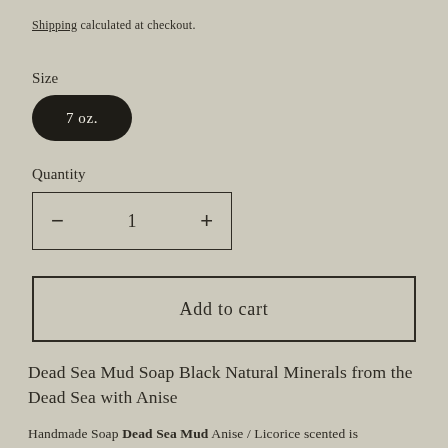Shipping calculated at checkout.
Size
7 oz.
Quantity
− 1 +
Add to cart
Dead Sea Mud Soap Black Natural Minerals from the Dead Sea with Anise
Handmade Soap Dead Sea Mud Anise / Licorice scented is